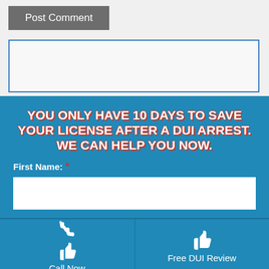[Figure (screenshot): Post Comment button (grey background)]
[Figure (screenshot): Empty textarea with blue border]
YOU ONLY HAVE 10 DAYS TO SAVE YOUR LICENSE AFTER A DUI ARREST. WE CAN HELP YOU NOW.
First Name: *
[Figure (screenshot): First Name input field (white box)]
Call Now
Free DUI Review